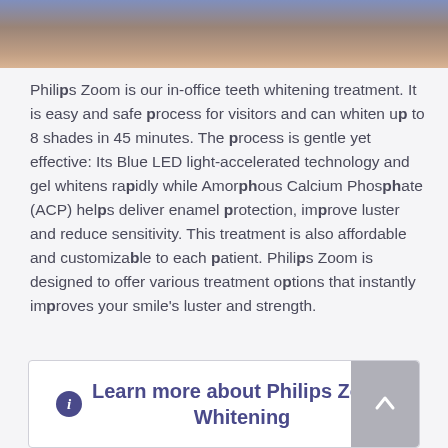[Figure (photo): Partial photo of a person, appearing as a cropped banner at the top of the page with purple and warm skin tones]
Philips Zoom is our in-office teeth whitening treatment. It is easy and safe process for visitors and can whiten up to 8 shades in 45 minutes. The process is gentle yet effective: Its Blue LED light-accelerated technology and gel whitens rapidly while Amorphous Calcium Phosphate (ACP) helps deliver enamel protection, improve luster and reduce sensitivity. This treatment is also affordable and customizable to each patient. Philips Zoom is designed to offer various treatment options that instantly improves your smile's luster and strength.
Learn more about Philips Zoom Whitening